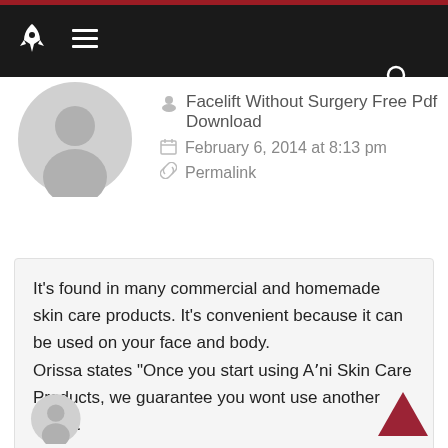Navigation bar with logo, hamburger menu, and search icon
[Figure (illustration): Grey circular user avatar placeholder icon]
Facelift Without Surgery Free Pdf Download
February 6, 2014 at 8:13 pm
Permalink
It’s found in many commercial and homemade skin care products. It’s convenient because it can be used on your face and body.
Orissa states “Once you start using Aʼni Skin Care Products, we guarantee you wont use another brand.
Reply
[Figure (illustration): Partial grey circular user avatar at bottom of page]